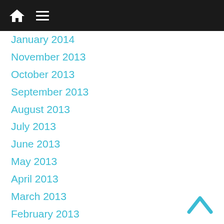Navigation header bar with home and menu icons
January 2014
November 2013
October 2013
September 2013
August 2013
July 2013
June 2013
May 2013
April 2013
March 2013
February 2013
January 2013
December 2012
November 2012
October 2012
September 2012